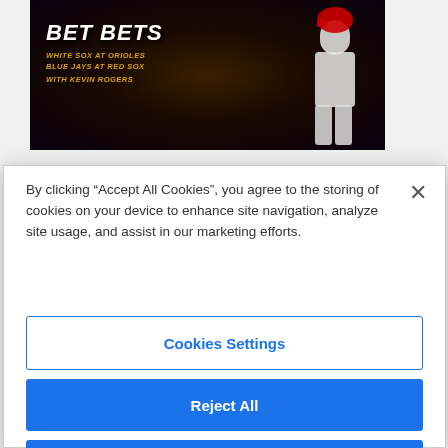[Figure (screenshot): Sports betting website banner with baseball player in pinstripe uniform, fire/smoke background, text reading WHITE SOX AT ORIOLES / BLUE JAYS AT RED SOX / WITH KEVIN ROGERS]
Wednesday's MLB Prop Bets
[Figure (screenshot): Dark video thumbnail with play button circle on left side]
By clicking “Accept All Cookies”, you agree to the storing of cookies on your device to enhance site navigation, analyze site usage, and assist in our marketing efforts.
Cookies Settings
Reject All
Accept All Cookies